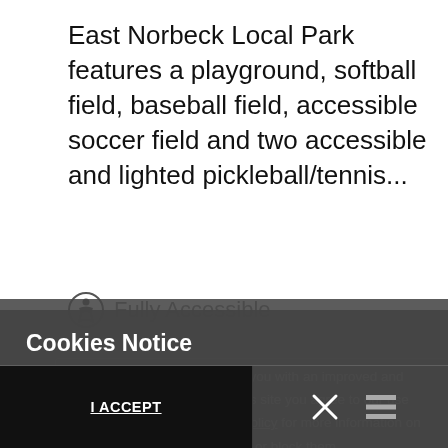East Norbeck Local Park features a playground, softball field, baseball field, accessible soccer field and two accessible and lighted pickleball/tennis...
Fully Accessible
Cookies Notice
This website uses cookies to provide you with an improved and personalized experience. By using this site you agree to our use of cookies. Please read our cookies policy for more information on the cookies we use and how to delete or block them.
I ACCEPT